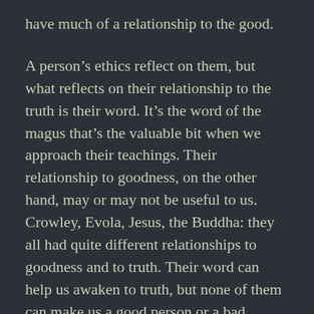have much of a relationship to the good.

A person’s ethics reflect on them, but what reflects on their relationship to the truth is their word. It’s the word of the magus that’s the valuable bit when we approach their teachings. Their relationship to goodness, on the other hand, may or may not be useful to us. Crowley, Evola, Jesus, the Buddha: they all had quite different relationships to goodness and to truth. Their word can help us awaken to truth, but none of them can make us a good person or a bad person. That’s up to us. That’s our responsibility. They might have laid down some rules that we might decide to follow, but following rules isn’t what makes someone an